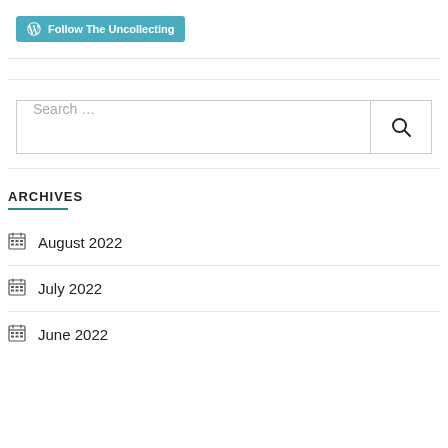[Figure (other): WordPress Follow button - teal button with WordPress logo and text 'Follow The Uncollecting']
Search ...
ARCHIVES
August 2022
July 2022
June 2022